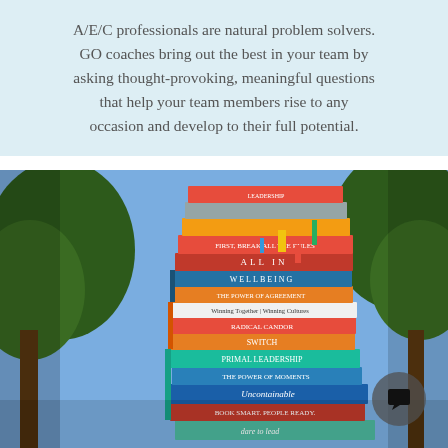A/E/C professionals are natural problem solvers. GO coaches bring out the best in your team by asking thought-provoking, meaningful questions that help your team members rise to any occasion and develop to their full potential.
[Figure (photo): A tall stack of business and leadership books balanced outdoors with trees and blue sky in the background. Visible book titles include 'FIRST, BREAK ALL THE RULES', 'ALL IN', 'WELLBEING', 'Winning Together', 'Winning Cultures', 'SWITCH', 'PRIMAL LEADERSHIP', 'THE POWER OF MOMENTS', 'Uncontainable', 'dare to lead', and others.]